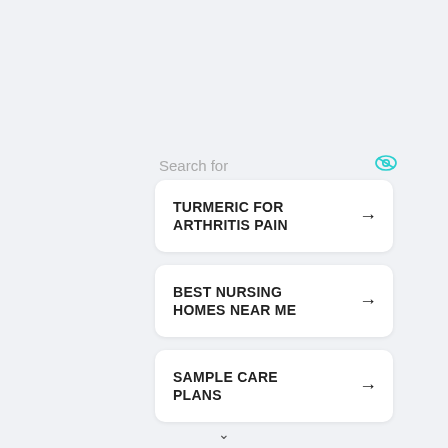Search for
TURMERIC FOR ARTHRITIS PAIN
BEST NURSING HOMES NEAR ME
SAMPLE CARE PLANS